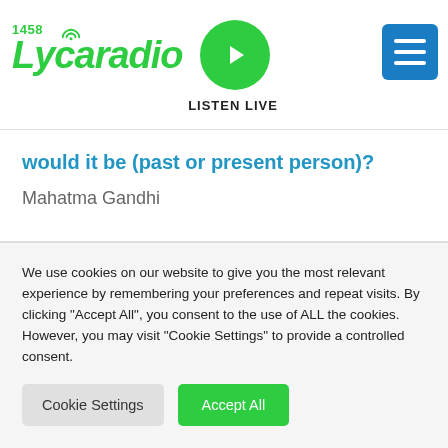Lycaradio 1458 — LISTEN LIVE
would it be (past or present person)?
Mahatma Gandhi
We use cookies on our website to give you the most relevant experience by remembering your preferences and repeat visits. By clicking "Accept All", you consent to the use of ALL the cookies. However, you may visit "Cookie Settings" to provide a controlled consent.